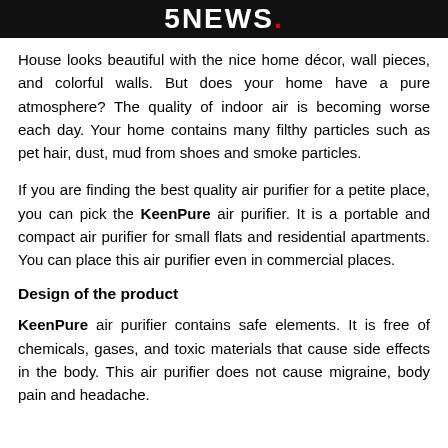5News.
House looks beautiful with the nice home décor, wall pieces, and colorful walls. But does your home have a pure atmosphere? The quality of indoor air is becoming worse each day. Your home contains many filthy particles such as pet hair, dust, mud from shoes and smoke particles.
If you are finding the best quality air purifier for a petite place, you can pick the KeenPure air purifier. It is a portable and compact air purifier for small flats and residential apartments. You can place this air purifier even in commercial places.
Design of the product
KeenPure air purifier contains safe elements. It is free of chemicals, gases, and toxic materials that cause side effects in the body. This air purifier does not cause migraine, body pain and headache.